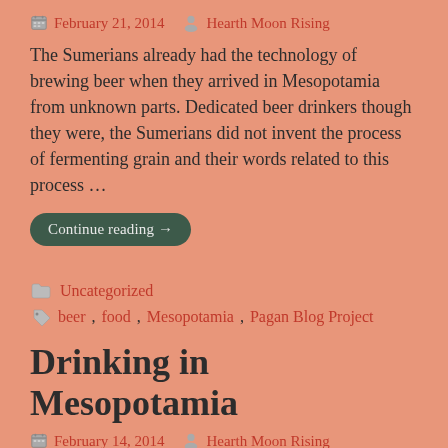February 21, 2014  Hearth Moon Rising
The Sumerians already had the technology of brewing beer when they arrived in Mesopotamia from unknown parts. Dedicated beer drinkers though they were, the Sumerians did not invent the process of fermenting grain and their words related to this process …
Continue reading →
Uncategorized
beer, food, Mesopotamia, Pagan Blog Project
Drinking in Mesopotamia
February 14, 2014  Hearth Moon Rising
I don't know if other priestesses begin to notice a pattern in the goddesses they are attracted to in the various pantheons. With a few exceptions, I seem to gravitate toward the young mother goddesses rather than the crone goddesses.